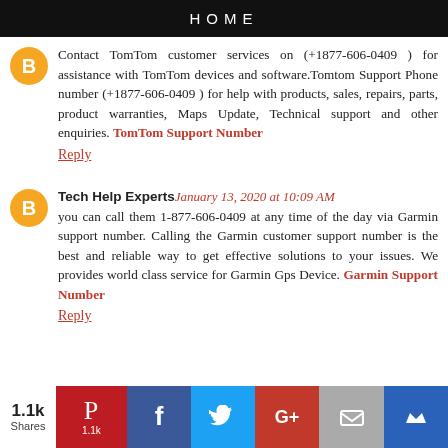HOME
Contact TomTom customer services on (+1877-606-0409 ) for assistance with TomTom devices and software.Tomtom Support Phone number (+1877-606-0409 ) for help with products, sales, repairs, parts, product warranties, Maps Update, Technical support and other enquiries. TomTom Support Number
Reply
Tech Help Experts January 13, 2020 at 10:09 AM
you can call them 1-877-606-0409 at any time of the day via Garmin support number. Calling the Garmin customer support number is the best and reliable way to get effective solutions to your issues. We provides world class service for Garmin Gps Device. Garmin Support Number
Reply
[Figure (infographic): Social share bar at bottom: 1.1k Shares, Pinterest (1.1k), Facebook, Twitter, Google+, Email, Crown icon buttons]